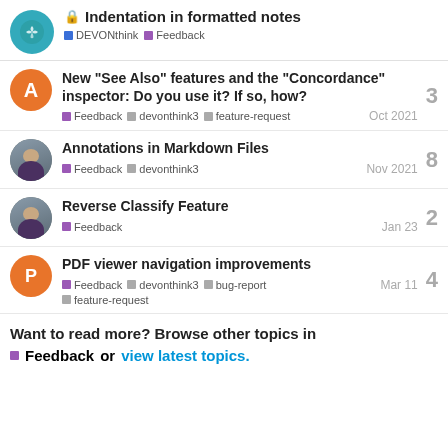Indentation in formatted notes | DEVONthink | Feedback
New “See Also” features and the “Concordance” inspector: Do you use it? If so, how? | Feedback, devonthink3, feature-request | Oct 2021 | 3 replies
Annotations in Markdown Files | Feedback, devonthink3 | Nov 2021 | 8 replies
Reverse Classify Feature | Feedback | Jan 23 | 2 replies
PDF viewer navigation improvements | Feedback, devonthink3, bug-report, feature-request | Mar 11 | 4 replies
Want to read more? Browse other topics in Feedback or view latest topics.